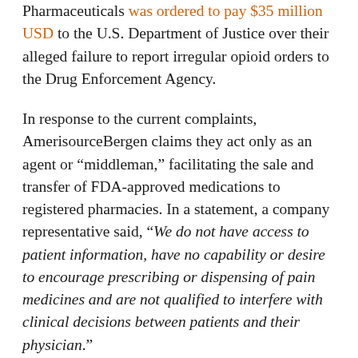Pharmaceuticals was ordered to pay $35 million USD to the U.S. Department of Justice over their alleged failure to report irregular opioid orders to the Drug Enforcement Agency.
In response to the current complaints, AmerisourceBergen claims they act only as an agent or “middleman,” facilitating the sale and transfer of FDA-approved medications to registered pharmacies. In a statement, a company representative said, “We do not have access to patient information, have no capability or desire to encourage prescribing or dispensing of pain medicines and are not qualified to interfere with clinical decisions between patients and their physician.”
AmerisourceBergen further claims that they